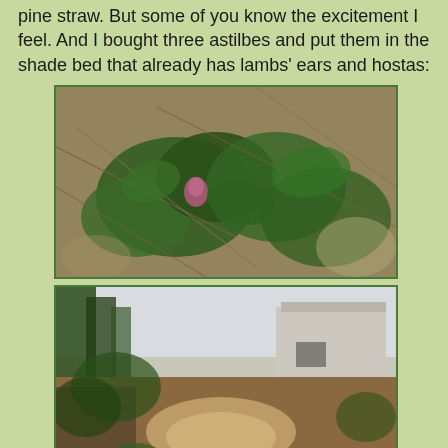pine straw. But some of you know the excitement I feel. And I bought three astilbes and put them in the shade bed that already has lambs' ears and hostas:
[Figure (photo): Close-up photo of green plant leaves (astilbe) growing among pine straw/needles on the ground, with a pink/red bud visible in the center.]
[Figure (photo): Wide-angle photo of a shaded garden area with bare dirt/mulch ground, trees on the left, and a white building/shed visible in the background on the right.]
And then! I saw what I wanted for Christmas!
[Figure (photo): Partial photo at bottom of page showing a garden scene, partially cut off.]